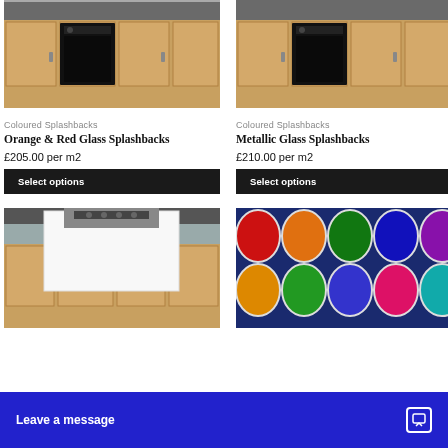[Figure (photo): Kitchen with wooden cabinets, dark countertop, and black oven - left product image]
[Figure (photo): Kitchen with wooden cabinets, dark countertop, and black oven - right product image]
Coloured Splashbacks
Orange & Red Glass Splashbacks
£205.00 per m2
Select options
Coloured Splashbacks
Metallic Glass Splashbacks
£210.00 per m2
Select options
[Figure (photo): Kitchen with white glass splashback installed behind the hob]
[Figure (photo): Colorful paint cans arranged in rows showing red, orange, green, blue, yellow colors]
Leave a message